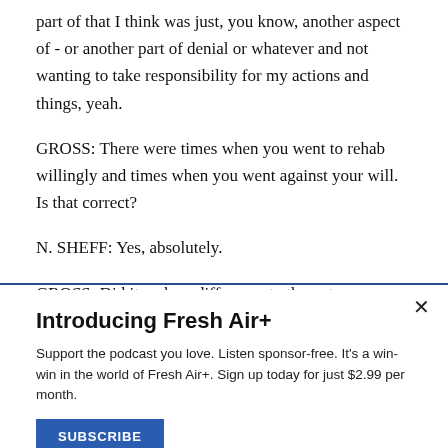part of that I think was just, you know, another aspect of - or another part of denial or whatever and not wanting to take responsibility for my actions and things, yeah.
GROSS: There were times when you went to rehab willingly and times when you went against your will. Is that correct?
N. SHEFF: Yes, absolutely.
GROSS: Did it make a difference to the outcome whether
Introducing Fresh Air+
Support the podcast you love. Listen sponsor-free. It's a win-win in the world of Fresh Air+. Sign up today for just $2.99 per month.
SUBSCRIBE